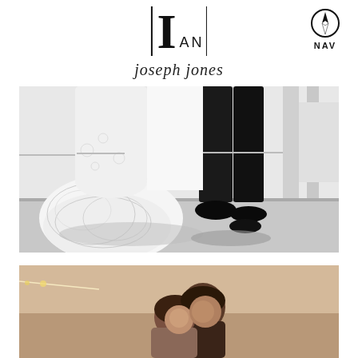[Figure (logo): Ian photography logo — vertical bars flanking large serif I with 'an' in small caps, with a compass/navigator icon and NAV text to the upper right]
joseph jones
[Figure (photo): Black and white wedding photo showing the lower half of a bride in a lace dress and groom in black suit walking together on a dance floor, with decorative bunting in background]
[Figure (photo): Warm-toned photo showing a couple closely together, the woman resting her head on the man's shoulder, in a tent or event space with string lights]